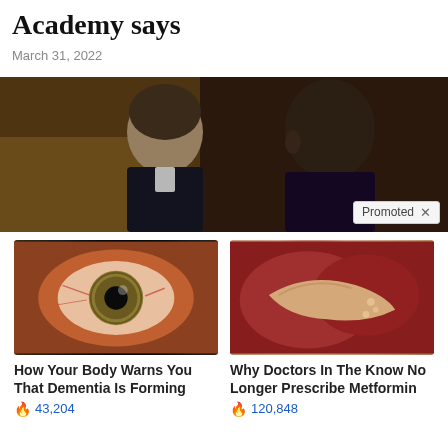Academy says
March 31, 2022
[Figure (photo): Two men at Oscars ceremony, one appearing to slap the other. Photo from behind showing the moment of impact.]
[Figure (photo): Close-up photo of a human eye with reddish appearance]
How Your Body Warns You That Dementia Is Forming
43,204
[Figure (photo): Medical photo of internal organ tissue]
Why Doctors In The Know No Longer Prescribe Metformin
120,848